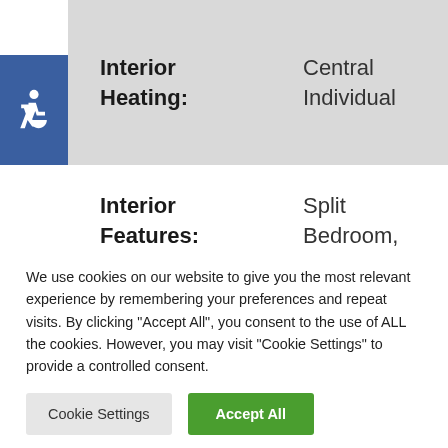| Field | Value |
| --- | --- |
| Interior Heating: | Central Individual |
| Interior Features: | Split Bedroom, Volume Ceiling, Walk-in Closet |
We use cookies on our website to give you the most relevant experience by remembering your preferences and repeat visits. By clicking "Accept All", you consent to the use of ALL the cookies. However, you may visit "Cookie Settings" to provide a controlled consent.